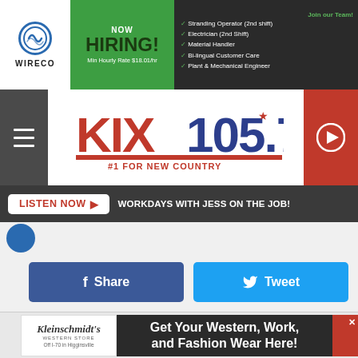[Figure (screenshot): WireCo advertisement banner: NOW HIRING with job listings including Stranding Operator (2nd shift), Electrician (2nd Shift), Material Handler, Bi-lingual Customer Care, Plant & Mechanical Engineer. Join our Team!]
[Figure (logo): KIX 105.7 #1 FOR NEW COUNTRY radio station logo with hamburger menu icon on left and play button on right]
LISTEN NOW ▶   WORKDAYS WITH JESS ON THE JOB!
[Figure (illustration): Social media share buttons: Share (Facebook blue) and Tweet (Twitter blue)]
The Board of Trustees of State Fair Community College will meet in a special executive closed meeting, with closed record and closed vote, on Tuesday, March 8, at 5 p.m., in the Hopkins Board Room for the purpose of considering hiring, firing, disciplining, or promotion of personnel, it was noted in a press release on Friday afternoon.
[Figure (screenshot): Kleinschmidt's Western Store advertisement: Get Your Western, Work, and Fashion Wear Here! Off I-70 in Higginsville]